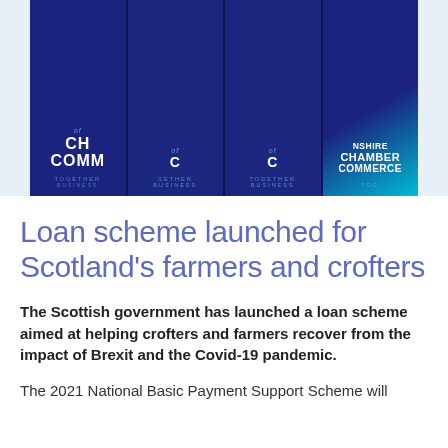[Figure (photo): Photo of multiple dark navy blue Chamber of Commerce branded booklets/brochures arranged on a surface, with text 'SHIRE CHAMBER COMMERCE' and 'TOGETHER BUSINESS' visible on the covers, with a teal/cyan stripe on the rightmost booklet]
Loan scheme launched for Scotland's farmers and crofters
The Scottish government has launched a loan scheme aimed at helping crofters and farmers recover from the impact of Brexit and the Covid-19 pandemic.
The 2021 National Basic Payment Support Scheme will